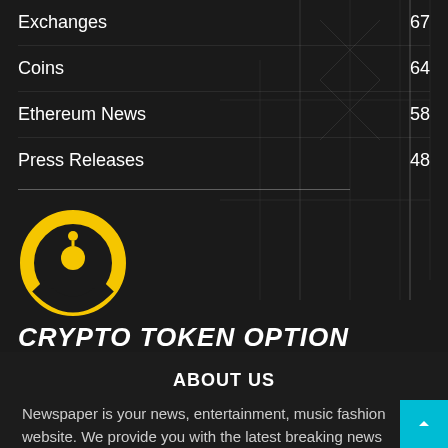Exchanges 67
Coins 64
Ethereum News 58
Press Releases 48
[Figure (logo): Crypto Token Option logo — gold circle with antenna/signal icon on dark background]
CRYPTO TOKEN OPTION
ABOUT US
Newspaper is your news, entertainment, music fashion website. We provide you with the latest breaking news and straight from the entertainment related